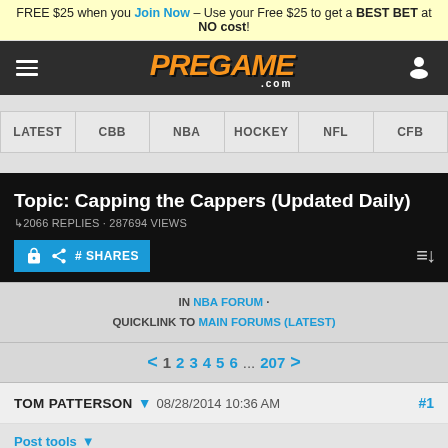FREE $25 when you Join Now – Use your Free $25 to get a BEST BET at NO cost!
[Figure (logo): Pregame.com logo with hamburger menu and user icon on dark header]
LATEST  CBB  NBA  HOCKEY  NFL  CFB
Topic: Capping the Cappers (Updated Daily)
2066 REPLIES · 287694 VIEWS
# SHARES
IN NBA FORUM · QUICKLINK TO MAIN FORUMS (LATEST)
1  2  3  4  5  6 ... 207
TOM PATTERSON  08/28/2014 10:36 AM  #1
Post tools